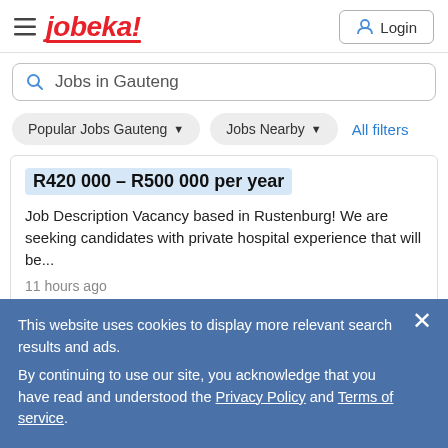jobeka! Login
Jobs in Gauteng
Popular Jobs Gauteng ▼   Jobs Nearby ▼   All filters
R420 000 – R500 000 per year
Job Description Vacancy based in Rustenburg! We are seeking candidates with private hospital experience that will be...
11 hours ago
Clinical Facilitator
Mass Staffing Projects
Gauteng
R400 000 – R500 000 per year
Job Description Exciting position available for a Clinical
This website uses cookies to display more relevant search results and ads.
By continuing to use our site, you acknowledge that you have read and understood the Privacy Policy and Terms of service.